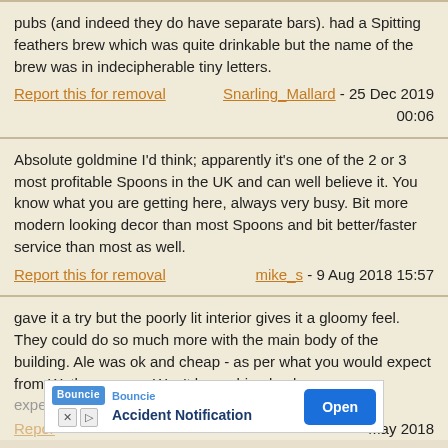pubs (and indeed they do have separate bars). had a Spitting feathers brew which was quite drinkable but the name of the brew was in indecipherable tiny letters.
Report this for removal   Snarling_Mallard - 25 Dec 2019 00:06
Absolute goldmine I'd think; apparently it's one of the 2 or 3 most profitable Spoons in the UK and can well believe it. You know what you are getting here, always very busy. Bit more modern looking decor than most Spoons and bit better/faster service than most as well.
Report this for removal   mike_s - 9 Aug 2018 15:57
gave it a try but the poorly lit interior gives it a gloomy feel. They could do so much more with the main body of the building. Ale was ok and cheap - as per what you would expect from Wetherspoons. Won't be rushing back.
[Figure (screenshot): Bouncie Accident Notification advertisement banner with Open button]
Report this for removal   May 2018